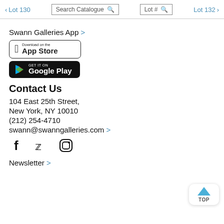< Lot 130   Search Catalogue   Lot #   Lot 132 >
Swann Galleries App >
[Figure (screenshot): Download on the App Store button]
[Figure (screenshot): GET IT ON Google Play button]
Contact Us
104 East 25th Street,
New York, NY 10010
(212) 254-4710
swann@swanngalleries.com >
[Figure (illustration): Social media icons: Facebook, Twitter, Instagram]
Newsletter >